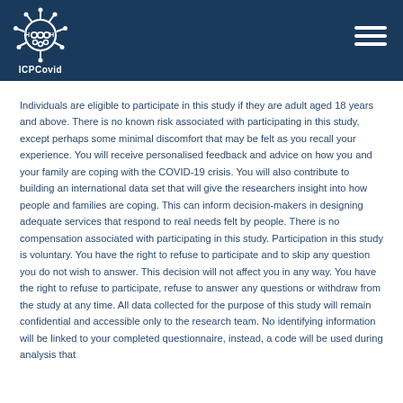ICPCovid
Individuals are eligible to participate in this study if they are adult aged 18 years and above. There is no known risk associated with participating in this study, except perhaps some minimal discomfort that may be felt as you recall your experience. You will receive personalised feedback and advice on how you and your family are coping with the COVID-19 crisis. You will also contribute to building an international data set that will give the researchers insight into how people and families are coping. This can inform decision-makers in designing adequate services that respond to real needs felt by people. There is no compensation associated with participating in this study. Participation in this study is voluntary. You have the right to refuse to participate and to skip any question you do not wish to answer. This decision will not affect you in any way. You have the right to refuse to participate, refuse to answer any questions or withdraw from the study at any time. All data collected for the purpose of this study will remain confidential and accessible only to the research team. No identifying information will be linked to your completed questionnaire, instead, a code will be used during analysis that